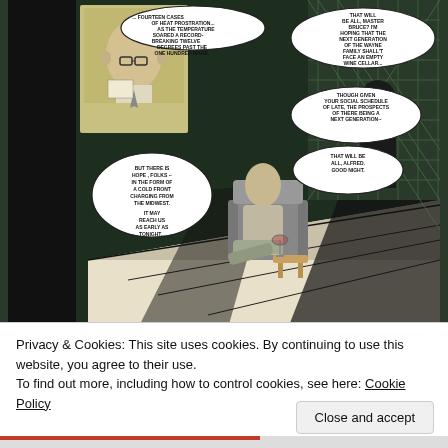[Figure (illustration): A comic book panel showing a man (Bruce) sitting in a chair in a dimly lit room with checkered floor and latticed windows. A butler (Alfred) stands in the background. A TV with an on-air anchor is shown in inset top-left. Multiple speech bubbles contain dialogue about heat, a cold front from the midwest, and Alfred bidding goodnight.]
Privacy & Cookies: This site uses cookies. By continuing to use this website, you agree to their use.
To find out more, including how to control cookies, see here: Cookie Policy
Close and accept